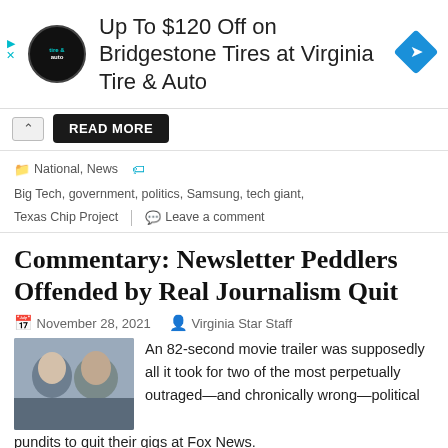[Figure (other): Advertisement banner for Virginia Tire & Auto: logo circle on left, large text 'Up To $120 Off on Bridgestone Tires at Virginia Tire & Auto', blue diamond arrow icon on right]
READ MORE
National, News   Big Tech, government, politics, Samsung, tech giant, Texas Chip Project   Leave a comment
Commentary: Newsletter Peddlers Offended by Real Journalism Quit
November 28, 2021   Virginia Star Staff
An 82-second movie trailer was supposedly all it took for two of the most perpetually outraged—and chronically wrong—political pundits to quit their gigs at Fox News.
The truth for Tucker Carlson...